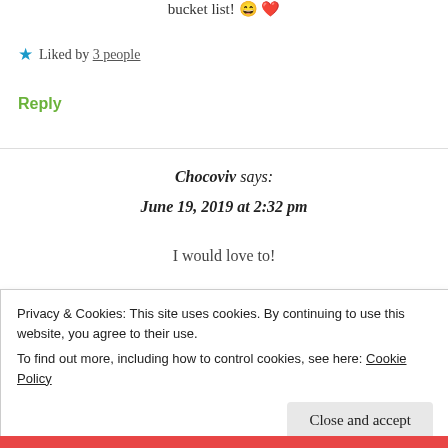bucket list! 😄 ❤️
★ Liked by 3 people
Reply
Chocoviv says: June 19, 2019 at 2:32 pm
I would love to!
Privacy & Cookies: This site uses cookies. By continuing to use this website, you agree to their use.
To find out more, including how to control cookies, see here: Cookie Policy
Close and accept